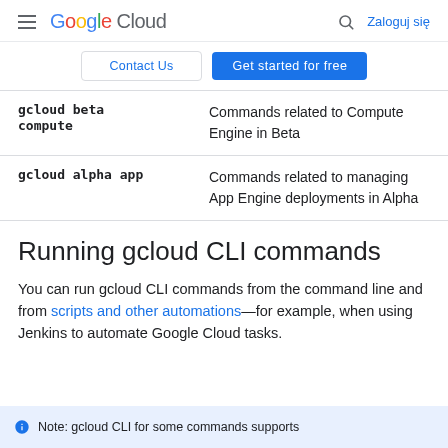Google Cloud — Zaloguj się
| Command | Description |
| --- | --- |
| gcloud beta compute | Commands related to Compute Engine in Beta |
| gcloud alpha app | Commands related to managing App Engine deployments in Alpha |
Running gcloud CLI commands
You can run gcloud CLI commands from the command line and from scripts and other automations—for example, when using Jenkins to automate Google Cloud tasks.